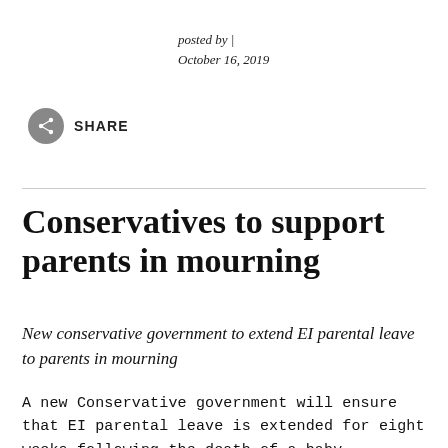posted by |
October 16, 2019
[Figure (other): Share icon button — grey circle with a share/network symbol]
SHARE
Conservatives to support parents in mourning
New conservative government to extend EI parental leave to parents in mourning
A new Conservative government will ensure that EI parental leave is extended for eight weeks following the death of a baby,